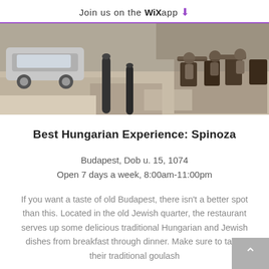Join us on the WiX app ↓
[Figure (photo): Outdoor street scene showing a restaurant terrace with dark metal bollards in the foreground, outdoor seating with patrons and dark rattan chairs on the right, a car parked on the street to the left, sunlit pavement.]
Best Hungarian Experience: Spinoza
Budapest, Dob u. 15, 1074
Open 7 days a week, 8:00am-11:00pm
If you want a taste of old Budapest, there isn't a better spot than this. Located in the old Jewish quarter, the restaurant serves up some delicious traditional Hungarian and Jewish dishes from breakfast through dinner. Make sure to taste their traditional goulash